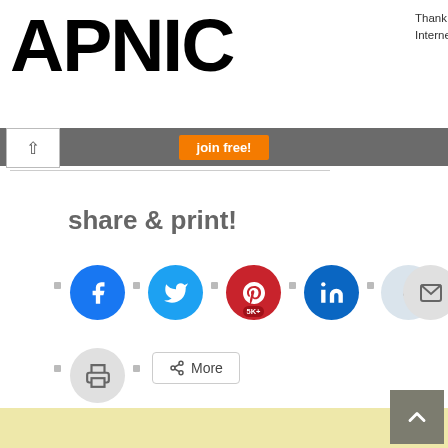[Figure (logo): APNIC logo in large bold black text]
Thank you for helping us measure the Internet.
[Figure (screenshot): Orange Join Free button on grey navigation bar with back arrow]
share & print!
[Figure (infographic): Social sharing buttons: Facebook, Twitter, Pinterest (5K+), LinkedIn, Reddit, Email, Print, and More button]
[Figure (other): Yellow/cream advertisement area at bottom with back-to-top button]